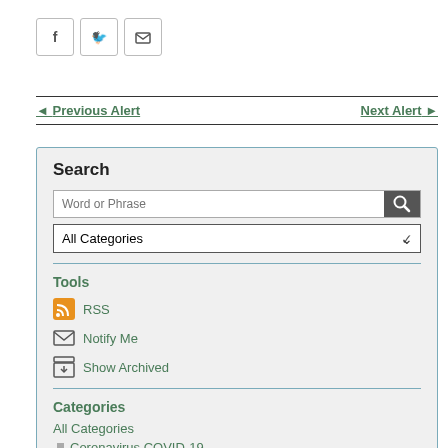[Figure (other): Social share icons: Facebook, Twitter, Email]
◄ Previous Alert    Next Alert ►
Search
Word or Phrase (search input) | All Categories (dropdown)
Tools
RSS
Notify Me
Show Archived
Categories
All Categories
Coronavirus COVID-19
Emergency Weather Alert (NON EMERGENCY)